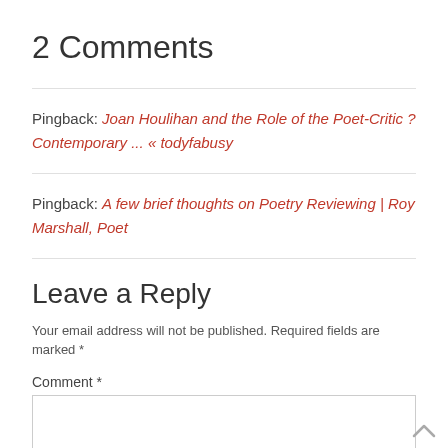2 Comments
Pingback: Joan Houlihan and the Role of the Poet-Critic ? Contemporary ... « todyfabusy
Pingback: A few brief thoughts on Poetry Reviewing | Roy Marshall, Poet
Leave a Reply
Your email address will not be published. Required fields are marked *
Comment *